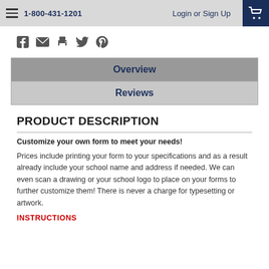1-800-431-1201  Login or Sign Up
[Figure (other): Social media icons row: Facebook, Email, Print, Twitter, Pinterest]
| Overview |
| Reviews |
PRODUCT DESCRIPTION
Customize your own form to meet your needs!
Prices include printing your form to your specifications and as a result already include your school name and address if needed. We can even scan a drawing or your school logo to place on your forms to further customize them! There is never a charge for typesetting or artwork.
INSTRUCTIONS